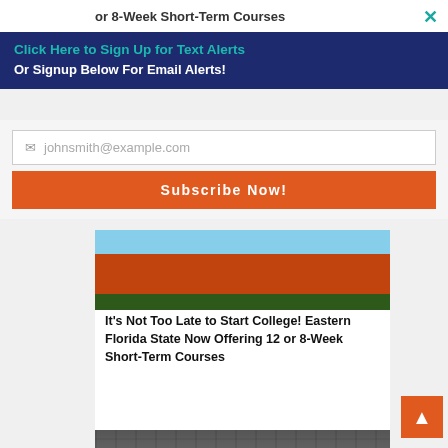or 8-Week Short-Term Courses
×
Click Here to Sign Up for Text Alerts
Or Signup Below For Email Alerts!
johnsmith@example.com
Subscribe Now!
[Figure (photo): Person wearing orange/rust colored shirt outdoors with trees in background]
It's Not Too Late to Start College! Eastern Florida State Now Offering 12 or 8-Week Short-Term Courses
[Figure (photo): Black and white vintage photo of a diner counter with customers and staff]